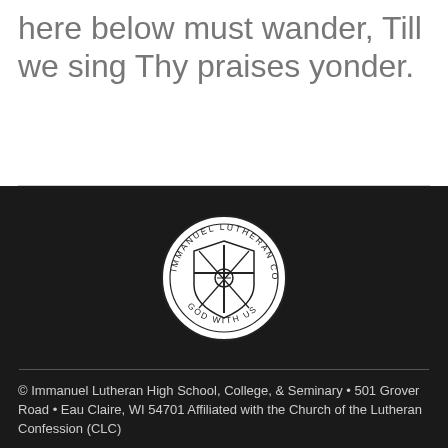here below must wander, Till we sing Thy praises yonder.
[Figure (logo): Immanuel Lutheran College circular seal/logo with a cross and shield in the center, text reading IMMANUEL LUTHERAN COLLEGE around the top and GOD WITH US around the bottom]
© Immanuel Lutheran High School, College, & Seminary • 501 Grover Road • Eau Claire, WI 54701 Affiliated with the Church of the Lutheran Confession (CLC)